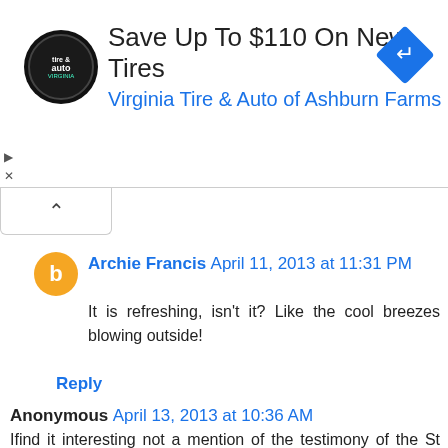[Figure (other): Advertisement banner: Save Up To $110 On New Tires - Virginia Tire & Auto of Ashburn Farms, with logo and navigation icon]
Archie Francis April 11, 2013 at 11:31 PM
It is refreshing, isn't it? Like the cool breezes blowing outside!
Reply
Anonymous April 13, 2013 at 10:36 AM
Ifind it interesting not a mention of the testimony of the St Jeromes' staff in this article, the 4 separate entrances into the sacristy where the "alleged assault" occurred with the priest, the 2 sacristans that